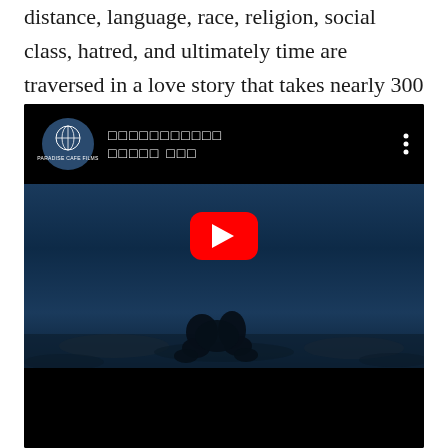distance, language, race, religion, social class, hatred, and ultimately time are traversed in a love story that takes nearly 300 years to reach fruition.
[Figure (screenshot): Embedded YouTube video player showing a dark blue cinematic scene with two silhouetted figures on rocky ground, YouTube play button overlay, channel header showing 'PARADISE CAFE FILMS' logo and title text in non-Latin script, three-dot menu icon]